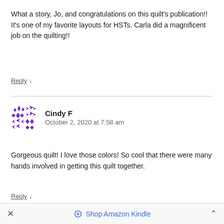What a story, Jo, and congratulations on this quilt's publication!! It's one of my favorite layouts for HSTs. Carla did a magnificent job on the quilting!!
Reply ↓
[Figure (illustration): Purple avatar icon with decorative cross/arrow pattern]
Cindy F
October 2, 2020 at 7:58 am
Gorgeous quilt! I love those colors! So cool that there were many hands involved in getting this quilt together.
Reply ↓
× Shop Amazon Kindle ^